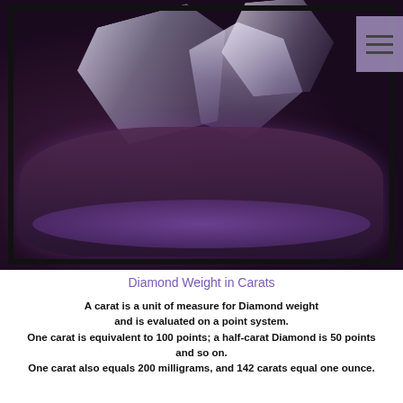[Figure (photo): A photograph of a diamond and crystal jewelry bracelet with scattered diamond-cut crystals on a dark background]
Diamond Weight in Carats
A carat is a unit of measure for Diamond weight and is evaluated on a point system. One carat is equivalent to 100 points; a half-carat Diamond is 50 points and so on. One carat also equals 200 milligrams, and 142 carats equal one ounce.